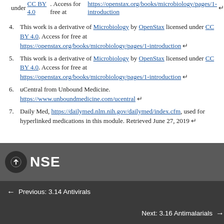under CC BY 4.0. Access for free at https://openstax.org/books/microbiology/pages/1-introduction ↵
4. This work is a derivative of Microbiology by OpenStax licensed under CC BY 4.0. Access for free at https://openstax.org/books/microbiology/pages/1-introduction ↵
5. This work is a derivative of Microbiology by OpenStax licensed under CC BY 4.0. Access for free at https://openstax.org/books/microbiology/pages/1-introduction ↵
6. uCentral from Unbound Medicine. https://www.unboundmedicine.com/ucentral ↵
7. Daily Med, https://dailymed.nlm.nih.gov/dailymed/index.cfm, used for hyperlinked medications in this module. Retrieved June 27, 2019 ↵
NSE
Previous: 3.14 Antivirals
Next: 3.16 Antimalarials